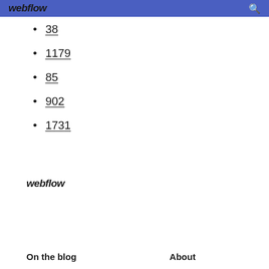webflow
38
1179
85
902
1731
webflow
On the blog   About